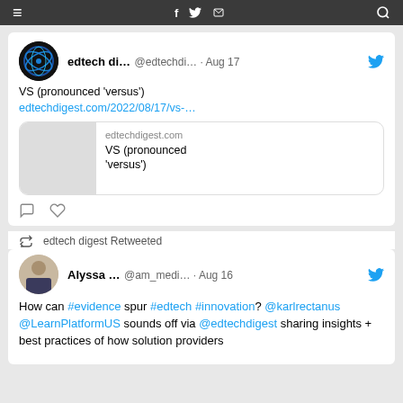≡  f  🐦  ✉  🔍
[Figure (screenshot): Tweet by edtech di... @edtechdi... Aug 17: VS (pronounced 'versus') edtechdigest.com/2022/08/17/vs-... with link preview card showing edtechdigest.com VS (pronounced 'versus')]
[Figure (screenshot): edtech digest Retweeted. Tweet by Alyssa ... @am_medi... Aug 16: How can #evidence spur #edtech #innovation? @karlrectanus @LearnPlatformUS sounds off via @edtechdigest sharing insights + best practices of how solution providers]